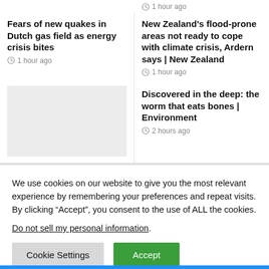1 hour ago
Fears of new quakes in Dutch gas field as energy crisis bites
1 hour ago
New Zealand's flood-prone areas not ready to cope with climate crisis, Ardern says | New Zealand
1 hour ago
Discovered in the deep: the worm that eats bones | Environment
2 hours ago
We use cookies on our website to give you the most relevant experience by remembering your preferences and repeat visits. By clicking “Accept”, you consent to the use of ALL the cookies. Do not sell my personal information.
Cookie Settings
Accept